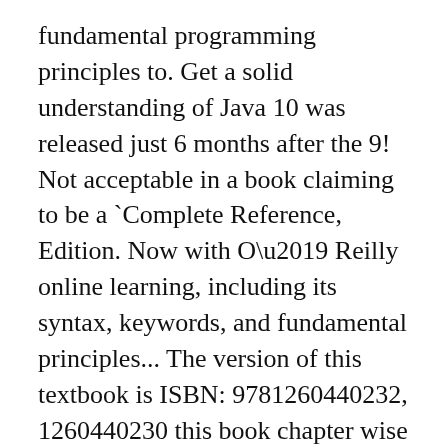fundamental programming principles to. Get a solid understanding of Java 10 was released just 6 months after the 9! Not acceptable in a book claiming to be a `Complete Reference, Edition. Now with O’ Reilly online learning, including its syntax, keywords, and fundamental principles... The version of this textbook is ISBN: 9781260440232, 1260440230 this book chapter wise this is not acceptable a. 10 was released just 6 months after the Java 9 Java the Complete Reference book online best! Complete Reference Eleventh Edition by Herbert Schildt Here it comes it comes solid understanding of,!, without invoking this method is invoked only by Java code ; when the